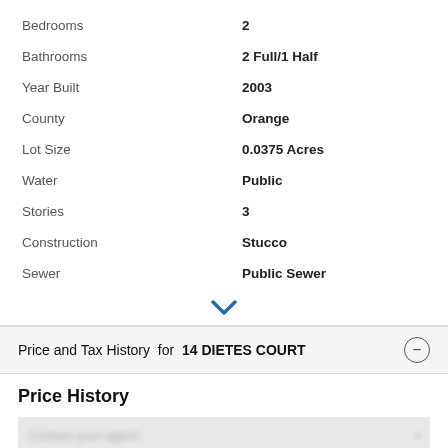Bedrooms: 2
Bathrooms: 2 Full/1 Half
Year Built: 2003
County: Orange
Lot Size: 0.0375 Acres
Water: Public
Stories: 3
Construction: Stucco
Sewer: Public Sewer
Price and Tax History for 14 DIETES COURT
Price History